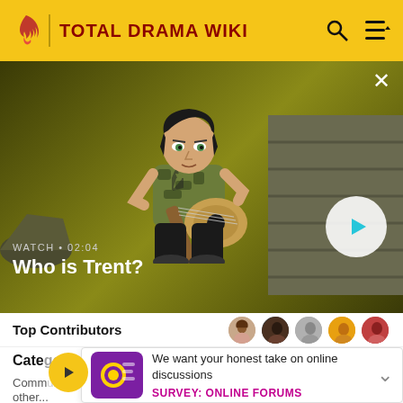TOTAL DRAMA WIKI
[Figure (screenshot): Video thumbnail showing animated character Trent playing guitar. WATCH • 02:04 / Who is Trent?]
Top Contributors
Cate[gories]
Comm[unity]
other...
We want your honest take on online discussions
SURVEY: ONLINE FORUMS